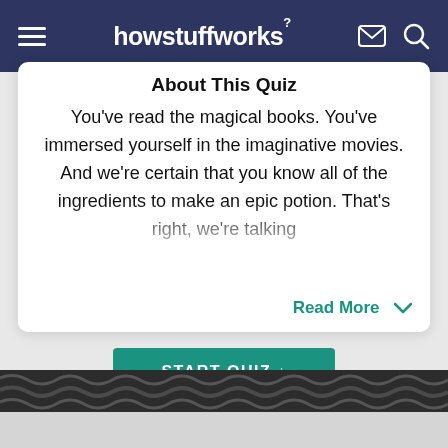howstuffworks
About This Quiz
You've read the magical books. You've immersed yourself in the imaginative movies. And we're certain that you know all of the ingredients to make an epic potion. That's right, we're talking
Read More
START QUIZ ↓
[Figure (photo): Dark textured serpent/snake pattern image strip at bottom of page]